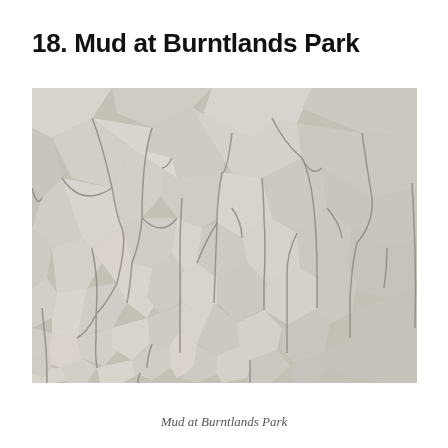18. Mud at Burntlands Park
[Figure (photo): Close-up photograph of cracked, dried mud at Burntlands Park. The mud surface is light grey/beige with deep irregular cracks forming a polygonal pattern across the entire image. The texture is rough with raised edges along the cracks.]
Mud at Burntlands Park